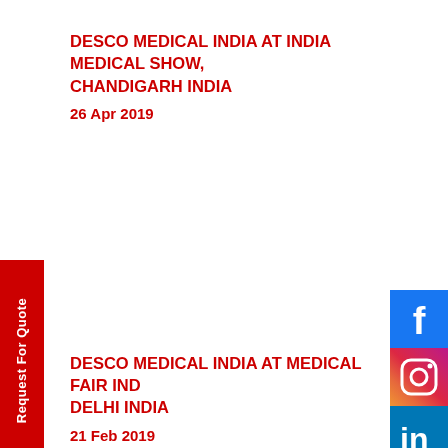DESCO MEDICAL INDIA AT INDIA MEDICAL SHOW, CHANDIGARH INDIA
26 Apr 2019
DESCO MEDICAL INDIA AT MEDICAL FAIR IND DELHI INDIA
21 Feb 2019
[Figure (infographic): Left vertical red sidebar button labeled 'Request For Quote']
[Figure (infographic): Left vertical red sidebar button labeled 'Request For Catalogue']
[Figure (infographic): Right social media icons bar: Facebook, Instagram, LinkedIn, Twitter, YouTube]